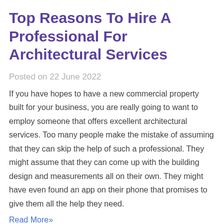Top Reasons To Hire A Professional For Architectural Services
Posted on 22 June 2022
If you have hopes to have a new commercial property built for your business, you are really going to want to employ someone that offers excellent architectural services. Too many people make the mistake of assuming that they can skip the help of such a professional. They might assume that they can come up with the building design and measurements all on their own. They might have even found an app on their phone that promises to give them all the help they need.
Read More»